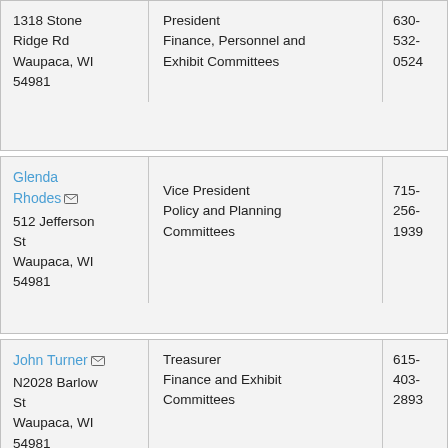| Name / Address | Role / Committees | Phone |
| --- | --- | --- |
| 1318 Stone Ridge Rd
Waupaca, WI 54981 | President
Finance, Personnel and Exhibit Committees | 630-532-0524 |
| Glenda Rhodes
512 Jefferson St
Waupaca, WI 54981 | Vice President
Policy and Planning Committees | 715-256-1939 |
| John Turner
N2028 Barlow St
Waupaca, WI 54981 | Treasurer
Finance and Exhibit Committees | 615-403-2893 |